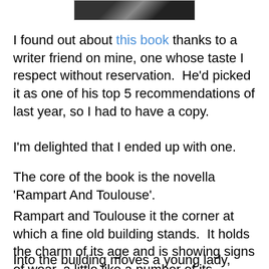[Figure (photo): Partial image of a book cover, dark/black and white photograph, cropped at top of page]
I found out about this book thanks to a writer friend on mine, one whose taste I respect without reservation.  He'd picked it as one of his top 5 recommendations of last year, so I had to have a copy.
I'm delighted that I ended up with one.
The core of the book is the novella 'Rampart And Toulouse'.
Rampart and Toulouse it the corner at which a fine old building stands.  It holds the charm of its age and is showing signs of wear, a little like a number of its inhabitants.
Into the building moves a young lady, finding the